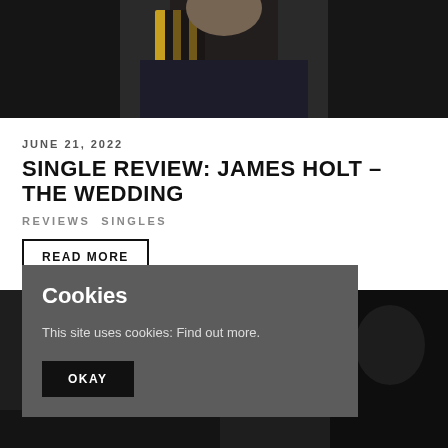[Figure (photo): Person wearing a yellow and white striped shirt with dark jacket, photo partially cropped at top]
JUNE 21, 2022
SINGLE REVIEW: JAMES HOLT – THE WEDDING
REVIEWS SINGLES
READ MORE
[Figure (photo): Cookie consent banner overlay on dark background section with person in black and white photo]
Cookies
This site uses cookies: Find out more.
OKAY